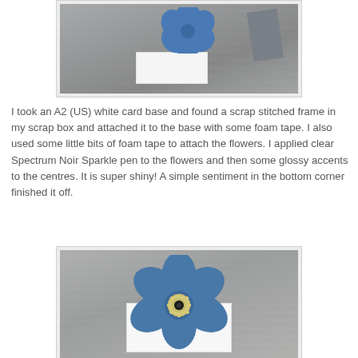[Figure (photo): Close-up photo of blue paper flower on white card with gray background, placed on wooden surface]
I took an A2 (US) white card base and found a scrap stitched frame in my scrap box and attached it to the base with some foam tape. I also used some little bits of foam tape to attach the flowers. I applied clear Spectrum Noir Sparkle pen to the flowers and then some glossy accents to the centres. It is super shiny! A simple sentiment in the bottom corner finished it off.
[Figure (photo): Close-up photo of a large blue paper flower with a gold gear/cog embellishment and black centre brad, on white card against wooden background]